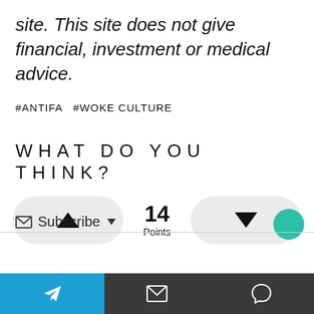site. This site does not give financial, investment or medical advice.
#ANTIFA  #WOKE CULTURE
WHAT DO YOU THINK?
▲  14 Points  ▼
✉ Subscribe ▾
24
[Figure (screenshot): Bottom navigation bar with three buttons: blue Telegram icon, dark email icon, dark chat bubble icon]